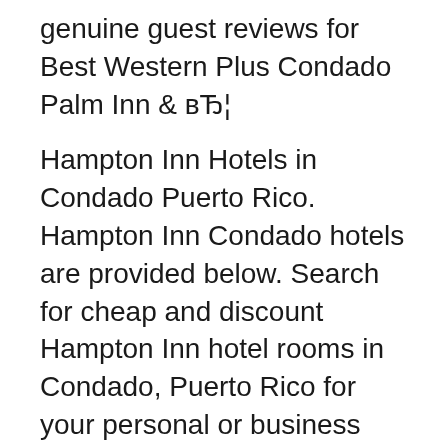genuine guest reviews for Best Western Plus Condado Palm Inn & вЂ¦
Hampton Inn Hotels in Condado Puerto Rico. Hampton Inn Condado hotels are provided below. Search for cheap and discount Hampton Inn hotel rooms in Condado, Puerto Rico for your personal or business trip. We list the best Hampton Inn Condado hotels + motels so you can review the Condado Hampton Inn hotel list below to find the perfect place. THE 10 BEST Puerto Rico Hotels. The #1 Best Value of 735 places to stay in Puerto Rico. Free Wifi. Pool. Special offer. Hotel website. San Juan Marriott Resort & Stellaris Casino. Show Prices. #2 Best Value of 735 places to